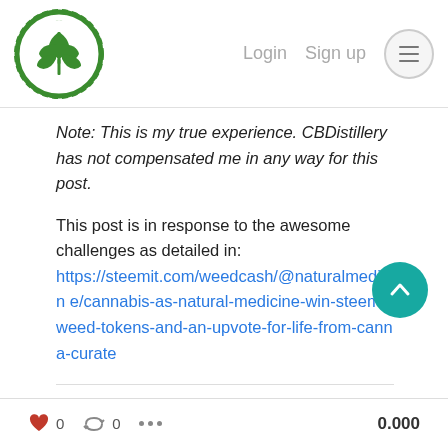Login  Sign up
Note: This is my true experience. CBDistillery has not compensated me in any way for this post.
This post is in response to the awesome challenges as detailed in: https://steemit.com/weedcash/@naturalmedicine/cannabis-as-natural-medicine-win-steem-weed-tokens-and-an-upvote-for-life-from-canna-curate
WEEDCASH
NATURALMEDICINE
CBD
STORYTELLING
0   0   0.000